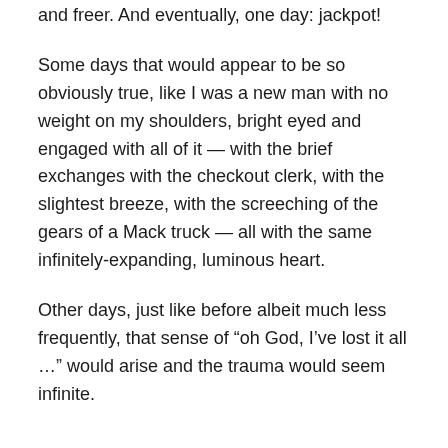and freer. And eventually, one day: jackpot!
Some days that would appear to be so obviously true, like I was a new man with no weight on my shoulders, bright eyed and engaged with all of it — with the brief exchanges with the checkout clerk, with the slightest breeze, with the screeching of the gears of a Mack truck — all with the same infinitely-expanding, luminous heart.
Other days, just like before albeit much less frequently, that sense of “oh God, I’ve lost it all …” would arise and the trauma would seem infinite.
…
So now — lately and now as I write these words — there’s another curiosity, about that old concept of releasing.
A new awareness comes into light. If it were in words, it